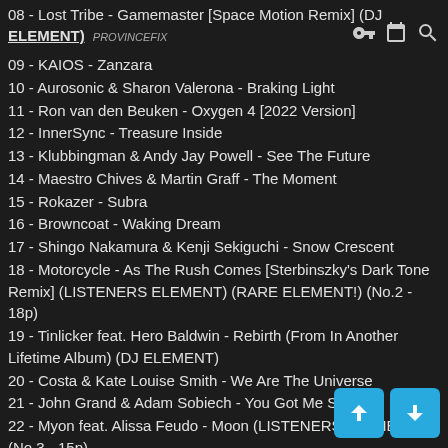08 - Lost Tribe - Gamemaster [Space Motion Remix] (DJ ELEMENT)
09 - KAIOS - Zanzara
10 - Aurosonic & Sharon Valerona - Braking Light
11 - Ron van den Beuken - Oxygen 4 [2022 Version]
12 - InnerSync - Treasure Inside
13 - Klubbingman & Andy Jay Powell - See The Future
14 - Maestro Chives & Martin Graff - The Moment
15 - Rokazer - Subra
16 - Browncoat - Waking Dream
17 - Shingo Nakamura & Kenji Sekiguchi - Snow Crescent
18 - Motorcycle - As The Rush Comes [Sterbinszky's Dark Tone Remix] (LISTENERS ELEMENT) (RARE ELEMENT!) (No.2 - 18p)
19 - Tinlicker feat. Hero Baldwin - Rebirth (From In Another Lifetime Album) (DJ ELEMENT)
20 - Costa & Kate Louise Smith - We Are The Universe
21 - John Grand & Adam Sobiech - You Got Me Saying
22 - Myon feat. Alissa Feudo - Moon (LISTENERS ELEMENT) (No.3 - 15p)
23 - Envio - Touched by The Sun [Approximate Remix]
24 - Arty & Mat Zo - Rebound [Jason Ross Remix] (LISTENERS ELEMENT) (RARE ELEMENT!) (No.1 - 36p)
25 - Metta & Glide with Kotte Hardt - Some Madness